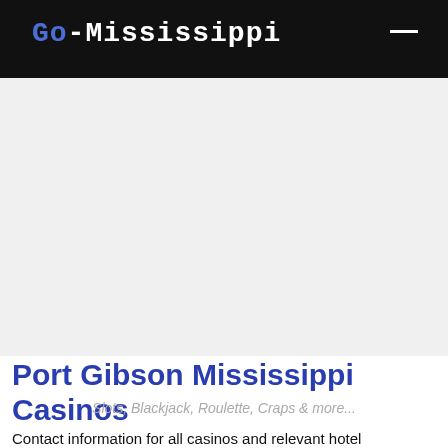Go-Mississippi
Port Gibson Mississippi Casinos
Slots, Blackjack, Roulette, Craps & more...
Contact information for all casinos and relevant hotel information found in Port Gibson, Mississippi can be found below.